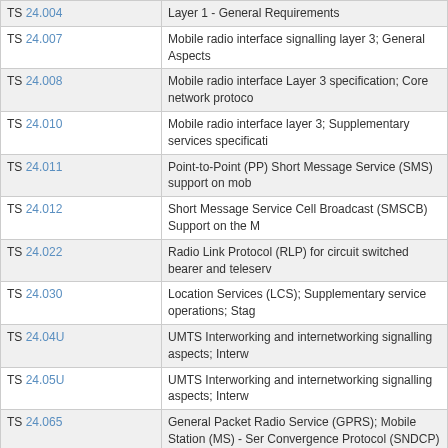| TS | Description |
| --- | --- |
| TS 24.004 | Layer 1 - General Requirements |
| TS 24.007 | Mobile radio interface signalling layer 3; General Aspects |
| TS 24.008 | Mobile radio interface Layer 3 specification; Core network protoco |
| TS 24.010 | Mobile radio interface layer 3; Supplementary services specificati |
| TS 24.011 | Point-to-Point (PP) Short Message Service (SMS) support on mob |
| TS 24.012 | Short Message Service Cell Broadcast (SMSCB) Support on the M |
| TS 24.022 | Radio Link Protocol (RLP) for circuit switched bearer and teleserv |
| TS 24.030 | Location Services (LCS); Supplementary service operations; Stag |
| TS 24.04U | UMTS Interworking and internetworking signalling aspects; Interw |
| TS 24.05U | UMTS Interworking and internetworking signalling aspects; Interw |
| TS 24.065 | General Packet Radio Service (GPRS); Mobile Station (MS) - Ser Convergence Protocol (SNDCP) |
| TS 24.067 | Enhanced Multi-Level Precedence and Pre-emption service (eML |
| TS 24.068 | Group Call Control (GCC) Protocol |
| TS 24.069 | Broadcast Call Control (BCC) protocol |
| TS 24.072 | Call Deflection (CD) supplementary service; Stage 3 |
| TS 24.080 | Mobile radio interface layer 3 supplementary services specificatio |
| TS 24.081 | Line Identification supplementary services; Stage 3 |
| TS 24.082 | Call Forwarding (CF) supplementary services; Stage 3 |
| TS 24.083 | Call Waiting (CW) and Call Hold (HOLD) supplementary services |